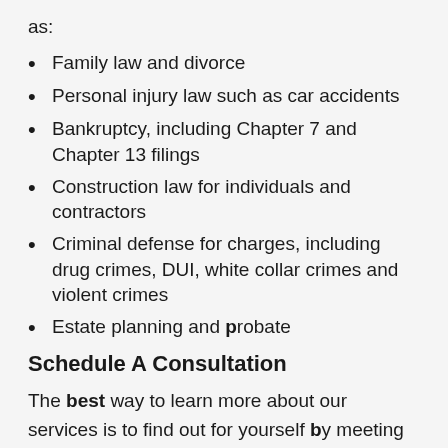as:
Family law and divorce
Personal injury law such as car accidents
Bankruptcy, including Chapter 7 and Chapter 13 filings
Construction law for individuals and contractors
Criminal defense for charges, including drug crimes, DUI, white collar crimes and violent crimes
Estate planning and probate
Schedule A Consultation
The best way to learn more about our services is to find out for yourself by meeting with us. Call our Maryland law offices today at 301-732-7675 to